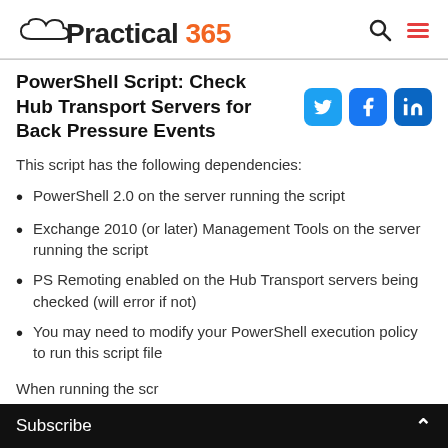Practical 365
PowerShell Script: Check Hub Transport Servers for Back Pressure Events
This script has the following dependencies:
PowerShell 2.0 on the server running the script
Exchange 2010 (or later) Management Tools on the server running the script
PS Remoting enabled on the Hub Transport servers being checked (will error if not)
You may need to modify your PowerShell execution policy to run this script file
When running the scr
Subscribe